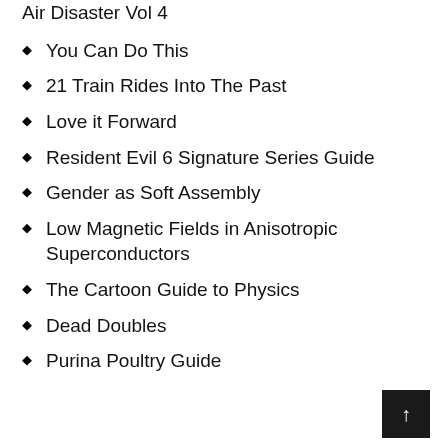Air Disaster Vol 4
You Can Do This
21 Train Rides Into The Past
Love it Forward
Resident Evil 6 Signature Series Guide
Gender as Soft Assembly
Low Magnetic Fields in Anisotropic Superconductors
The Cartoon Guide to Physics
Dead Doubles
Purina Poultry Guide